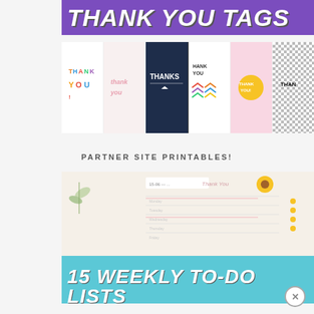[Figure (illustration): Thank You Tags product banner with purple background and white bold italic text reading THANK YOU TAGS, with a strip of colorful thank you card designs below]
PARTNER SITE PRINTABLES!
[Figure (illustration): 15 Weekly To-Do Lists product image showing planner pages with a teal banner at bottom reading 15 WEEKLY TO-DO LISTS in white bold italic text]